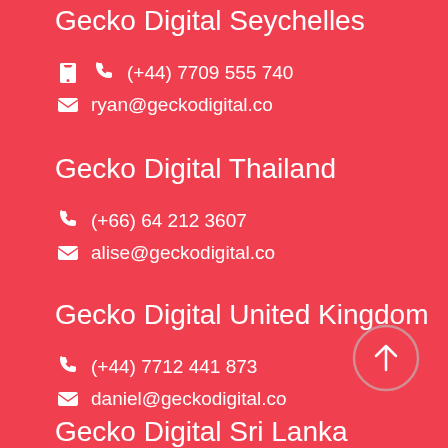Gecko Digital Seychelles
(+44) 7709 555 740
ryan@geckodigital.co
Gecko Digital Thailand
(+66) 64 212 3607
alise@geckodigital.co
Gecko Digital United Kingdom
(+44) 7712 441 873
daniel@geckodigital.co
Gecko Digital Sri Lanka